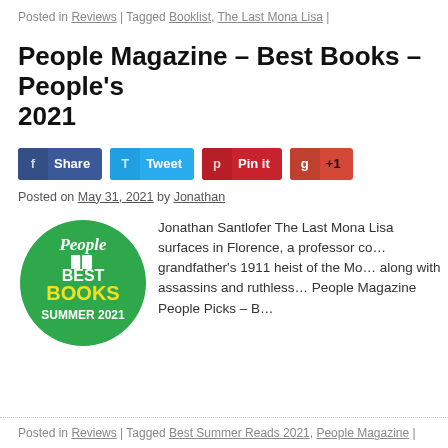Posted in Reviews | Tagged Booklist, The Last Mona Lisa |
People Magazine – Best Books – People's 2021
[Figure (infographic): Social share buttons row: Share (Facebook, blue), Tweet (Twitter, light blue), Pin it (Pinterest, red), +1 (Google Plus, orange-red)]
Posted on May 31, 2021 by Jonathan
[Figure (logo): People Magazine Best Books Summer 2021 circular green badge with white and yellow text]
Jonathan Santlofer The Last Mona Lisa surfaces in Florence, a professor c... grandfather's 1911 heist of the M... along with assassins and ruthless... People Magazine People Picks – B...
Posted in Reviews | Tagged Best Summer Reads 2021, People Magazine |